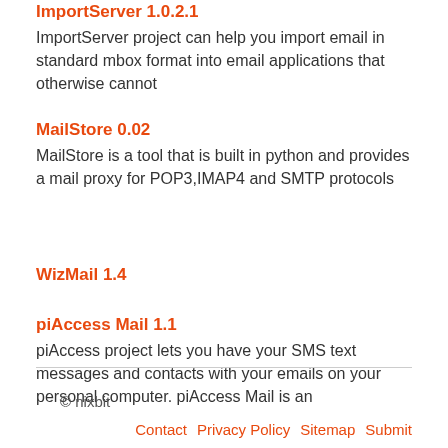ImportServer 1.0.2.1
ImportServer project can help you import email in standard mbox format into email applications that otherwise cannot
MailStore 0.02
MailStore is a tool that is built in python and provides a mail proxy for POP3,IMAP4 and SMTP protocols
WizMail 1.4
piAccess Mail 1.1
piAccess project lets you have your SMS text messages and contacts with your emails on your personal computer. piAccess Mail is an
© nixbit
Contact  Privacy Policy  Sitemap  Submit